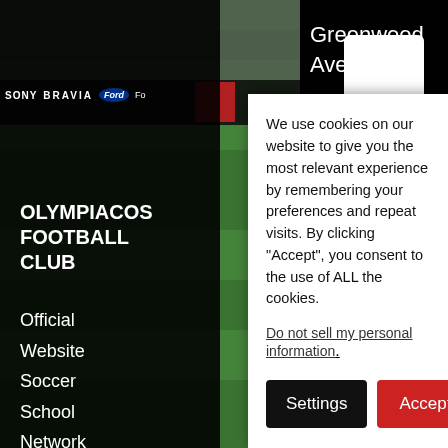[Figure (screenshot): Background: soccer stadium field with Sony BRAVIA and Ford advertising boards visible. Three dark overlay panels (left sidebar, center, right) appear over the field image.]
OLYMPIACOS FOOTBALL CLUB
Official Website
Soccer School
Network
Information
* = required field
Subscrib
Greenwood Ave, STE139 Niles, Illinois 60714 +1-224-
We use cookies on our website to give you the most relevant experience by remembering your preferences and repeat visits. By clicking “Accept”, you consent to the use of ALL the cookies.
Do not sell my personal information.
Settings
Accept